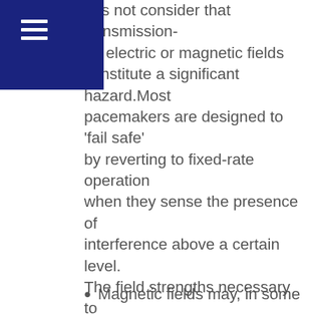≡
oes not consider that transmission-he electric or magnetic fields constitute a significant hazard.Most pacemakers are designed to 'fail safe' by reverting to fixed-rate operation when they sense the presence of interference above a certain level. The field strengths necessary to induce such behaviour vary from one pacemaker model to another but are generally higher than the fields encountered in the environment. More detail on EMFs and implanted medical devices.
Magnetic fields may, in some